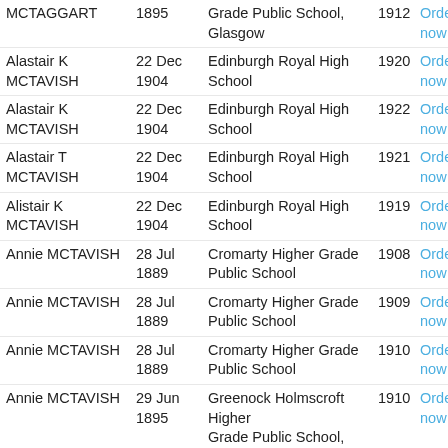| Name | Date | School | Year |  |
| --- | --- | --- | --- | --- |
| MCTAGGART | 1895 | Grade Public School, Glasgow | 1912 | Order now |
| Alastair K MCTAVISH | 22 Dec 1904 | Edinburgh Royal High School | 1920 | Order now |
| Alastair K MCTAVISH | 22 Dec 1904 | Edinburgh Royal High School | 1922 | Order now |
| Alastair T MCTAVISH | 22 Dec 1904 | Edinburgh Royal High School | 1921 | Order now |
| Alistair K MCTAVISH | 22 Dec 1904 | Edinburgh Royal High School | 1919 | Order now |
| Annie MCTAVISH | 28 Jul 1889 | Cromarty Higher Grade Public School | 1908 | Order now |
| Annie MCTAVISH | 28 Jul 1889 | Cromarty Higher Grade Public School | 1909 | Order now |
| Annie MCTAVISH | 28 Jul 1889 | Cromarty Higher Grade Public School | 1910 | Order now |
| Annie MCTAVISH | 29 Jun 1895 | Greenock Holmscroft Higher Grade Public School, Greenock | 1910 | Order now |
| Annie E MCTAVISH | 21 Oct | Edinburgh Broughton HGPS | 1917 | Order |